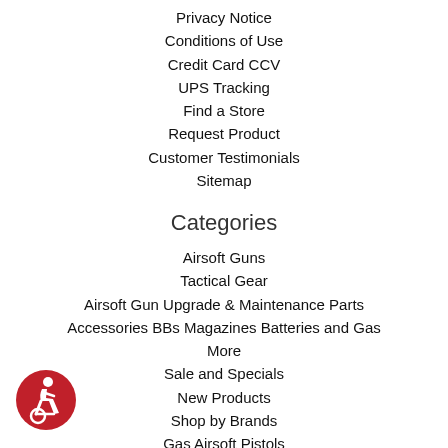Privacy Notice
Conditions of Use
Credit Card CCV
UPS Tracking
Find a Store
Request Product
Customer Testimonials
Sitemap
Categories
Airsoft Guns
Tactical Gear
Airsoft Gun Upgrade & Maintenance Parts
Accessories BBs Magazines Batteries and Gas
More
Sale and Specials
New Products
Shop by Brands
Gas Airsoft Pistols
AEG M4 Rifles
Airsoft Sniper Rifles
Hi-Capa Airsoft Pistols
[Figure (illustration): Accessibility icon: red circle with white wheelchair user symbol]